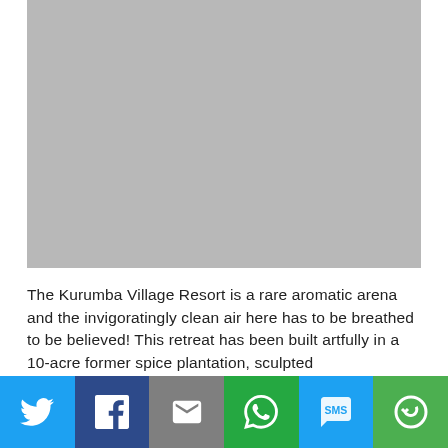[Figure (photo): Gray placeholder image for Kurumba Village Resort photo]
The Kurumba Village Resort is a rare aromatic arena and the invigoratingly clean air here has to be breathed to be believed! This retreat has been built artfully in a 10-acre former spice plantation, sculpted
[Figure (infographic): Social media share bar with Twitter, Facebook, Email, WhatsApp, SMS, and More buttons]